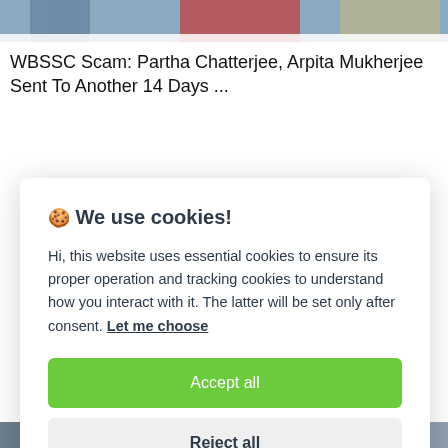[Figure (photo): Partial photo of people at top of page, cropped, showing clothing and figures]
WBSSC Scam: Partha Chatterjee, Arpita Mukherjee Sent To Another 14 Days ...
🍪 We use cookies!

Hi, this website uses essential cookies to ensure its proper operation and tracking cookies to understand how you interact with it. The latter will be set only after consent. Let me choose

[Accept all] [Reject all]